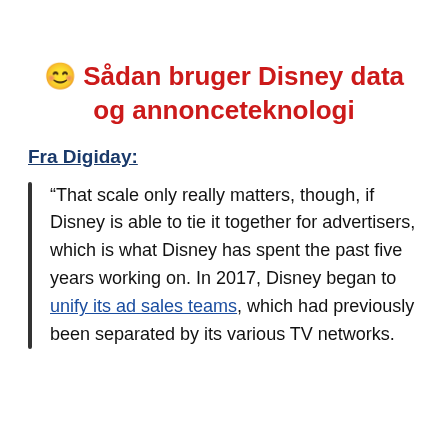😊 Sådan bruger Disney data og annonceteknologi
Fra Digiday:
“That scale only really matters, though, if Disney is able to tie it together for advertisers, which is what Disney has spent the past five years working on. In 2017, Disney began to unify its ad sales teams, which had previously been separated by its various TV networks.